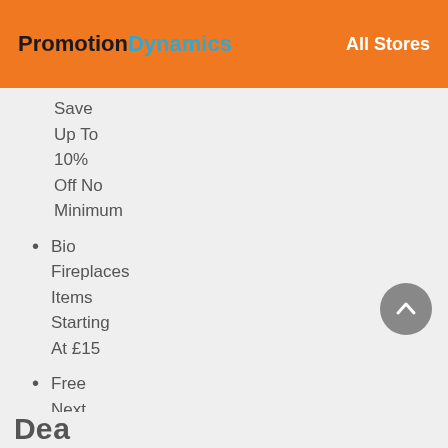PromotionDynamics   All Stores
Save Up To 10% Off No Minimum
Bio Fireplaces Items Starting At £15
Free Next Day Delivery